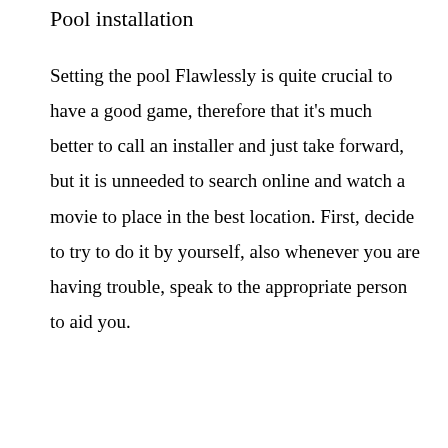Pool installation
Setting the pool Flawlessly is quite crucial to have a good game, therefore that it's much better to call an installer and just take forward, but it is unneeded to search online and watch a movie to place in the best location. First, decide to try to do it by yourself, also whenever you are having trouble, speak to the appropriate person to aid you.